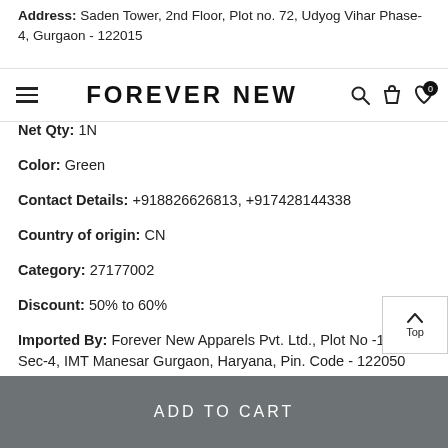Address: Saden Tower, 2nd Floor, Plot no. 72, Udyog Vihar Phase-4, Gurgaon - 122015
FOREVER NEW
Net Qty: 1N
Color: Green
Contact Details: +918826626813, +917428144338
Country of origin: CN
Category: 27177002
Discount: 50% to 60%
Imported By: Forever New Apparels Pvt. Ltd., Plot No -149, Sec-4, IMT Manesar Gurgaon, Haryana, Pin. Code - 122050
HSN Code: 61044400
ADD TO CART